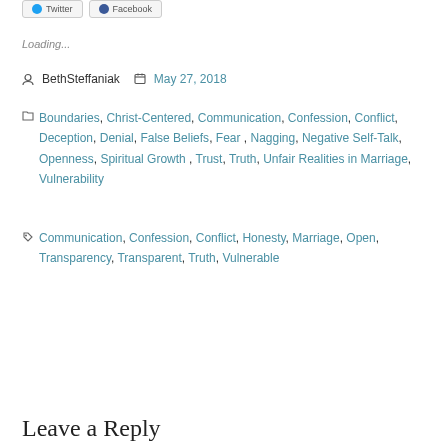Loading...
BethSteffaniak   May 27, 2018
Boundaries, Christ-Centered, Communication, Confession, Conflict, Deception, Denial, False Beliefs, Fear, Nagging, Negative Self-Talk, Openness, Spiritual Growth, Trust, Truth, Unfair Realities in Marriage, Vulnerability
Communication, Confession, Conflict, Honesty, Marriage, Open, Transparency, Transparent, Truth, Vulnerable
Leave a Reply